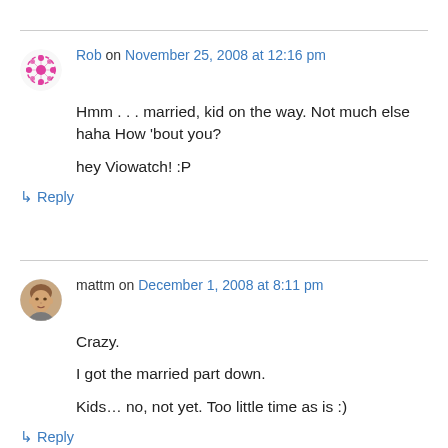Rob on November 25, 2008 at 12:16 pm
Hmm . . . married, kid on the way. Not much else haha How 'bout you?

hey Viowatch! :P
↳ Reply
mattm on December 1, 2008 at 8:11 pm
Crazy.

I got the married part down.

Kids… no, not yet. Too little time as is :)
↳ Reply